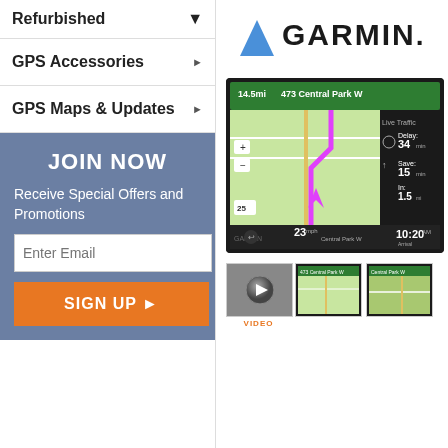Refurbished
GPS Accessories
GPS Maps & Updates
JOIN NOW
Receive Special Offers and Promotions
Enter Email
SIGN UP
[Figure (logo): Garmin logo with blue triangle and bold GARMIN. text]
[Figure (screenshot): Garmin GPS device screen showing navigation to 473 Central Park W, with live traffic info showing Delay: 34 min, Save: 15 min, In: 1.5, Speed: 23, time 10:20]
[Figure (screenshot): Three thumbnail images below the main GPS device image: a video play button thumbnail, and two GPS device screenshots]
VIDEO